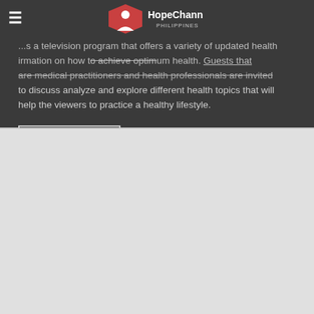[Figure (logo): Hope Channel Philippines logo — diamond/shield shape with person icon, white text 'HopeChannel PHILIPPINES']
...s a television program that offers a variety of updated health information on how to achieve optimum health. Guests that are medical practitioners and health professionals are invited to discuss analyze and explore different health topics that will help the viewers to practice a healthy lifestyle.
WATCH EPISODES
DISCOVER MORE